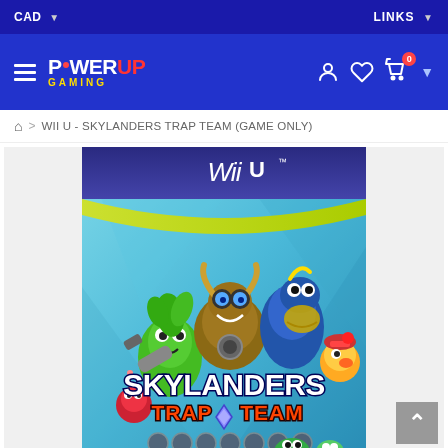CAD ▾   LINKS ▾
[Figure (logo): PowerUp Gaming logo with hamburger menu, user icon, heart icon, and cart icon with 0 badge]
WII U - SKYLANDERS TRAP TEAM (GAME ONLY)
[Figure (photo): Skylanders Trap Team Wii U game box art showing various Skylanders characters including a green plant creature, a mechanical bull character, a blue dragon, a small yellow character, and title text 'Skylanders Trap Team' on a blue background with the Wii U logo at the top]